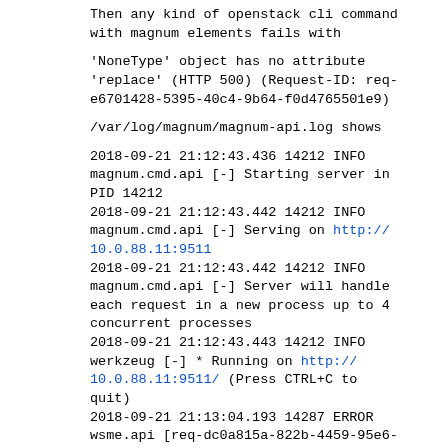Then any kind of openstack cli command with magnum elements fails with
'NoneType' object has no attribute 'replace' (HTTP 500) (Request-ID: req-e6701428-5395-40c4-9b64-f0d4765501e9)
/var/log/magnum/magnum-api.log shows
2018-09-21 21:12:43.436 14212 INFO magnum.cmd.api [-] Starting server in PID 14212
2018-09-21 21:12:43.442 14212 INFO magnum.cmd.api [-] Serving on http://10.0.88.11:9511
2018-09-21 21:12:43.442 14212 INFO magnum.cmd.api [-] Server will handle each request in a new process up to 4 concurrent processes
2018-09-21 21:12:43.443 14212 INFO werkzeug [-] * Running on http://10.0.88.11:9511/ (Press CTRL+C to quit)
2018-09-21 21:13:04.193 14287 ERROR wsme.api [req-dc0a815a-822b-4459-95e6-0c5550670155 - - - - -] Server-side